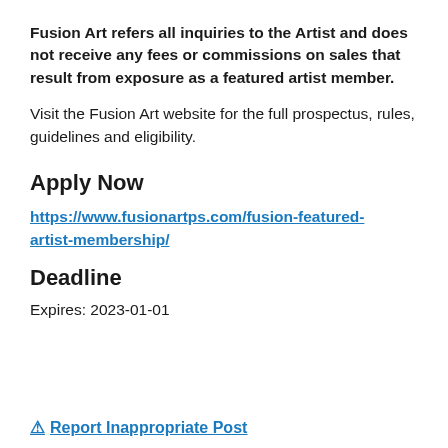Fusion Art refers all inquiries to the Artist and does not receive any fees or commissions on sales that result from exposure as a featured artist member.
Visit the Fusion Art website for the full prospectus, rules, guidelines and eligibility.
Apply Now
https://www.fusionartps.com/fusion-featured-artist-membership/
Deadline
Expires: 2023-01-01
⚠ Report Inappropriate Post